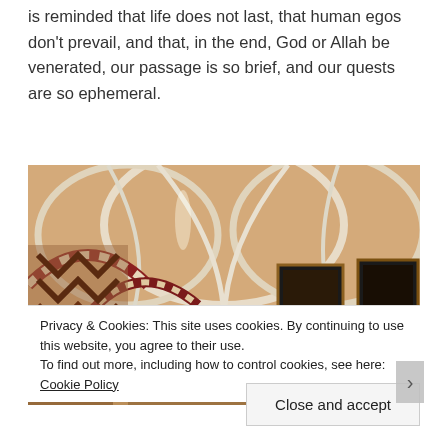is reminded that life does not last, that human egos don't prevail, and that, in the end, God or Allah be venerated, our passage is so brief, and our quests are so ephemeral.
[Figure (photo): Interior of a historic mosque or cathedral showing ornate arched ceilings with ribbed vaulting, brick archways with red and white striped stonework, and framed paintings hanging on the walls. The image has warm amber tones.]
Privacy & Cookies: This site uses cookies. By continuing to use this website, you agree to their use.
To find out more, including how to control cookies, see here: Cookie Policy
Close and accept